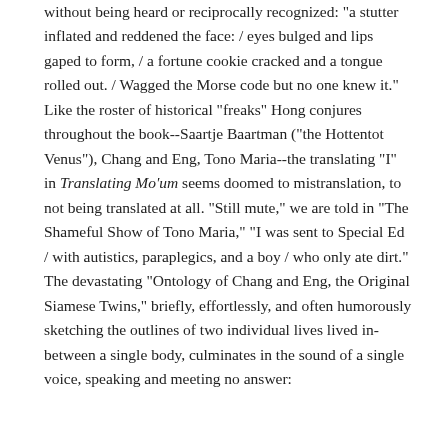without being heard or reciprocally recognized: "a stutter inflated and reddened the face: / eyes bulged and lips gaped to form, / a fortune cookie cracked and a tongue rolled out. / Wagged the Morse code but no one knew it." Like the roster of historical "freaks" Hong conjures throughout the book--Saartje Baartman ("the Hottentot Venus"), Chang and Eng, Tono Maria--the translating "I" in Translating Mo'um seems doomed to mistranslation, to not being translated at all. "Still mute," we are told in "The Shameful Show of Tono Maria," "I was sent to Special Ed / with autistics, paraplegics, and a boy / who only ate dirt." The devastating "Ontology of Chang and Eng, the Original Siamese Twins," briefly, effortlessly, and often humorously sketching the outlines of two individual lives lived in-between a single body, culminates in the sound of a single voice, speaking and meeting no answer: